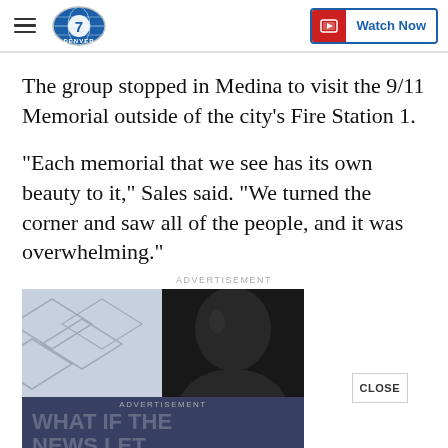Denver7 news site header with hamburger menu, Denver7 logo, and Watch Now button
The group stopped in Medina to visit the 9/11 Memorial outside of the city's Fire Station 1.
"Each memorial that we see has its own beauty to it," Sales said. "We turned the corner and saw all of the people, and it was overwhelming."
[Figure (screenshot): Advertisement banner with a man's face and overlay text reading WHAT IF THE NEWS LET YOU SEE FOR, with a CLOSE button]
ADVERTISEMENT